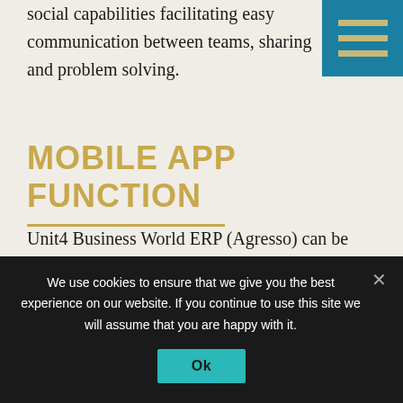social capabilities facilitating easy communication between teams, sharing and problem solving.
[Figure (other): Hamburger menu icon with teal/blue background and three gold horizontal lines]
MOBILE APP FUNCTION
Unit4 Business World ERP (Agresso) can be used as an App for all members of a team to stay connected and up to date on all project activities anywhere.
WHAT SKILLS DO YOU
We use cookies to ensure that we give you the best experience on our website. If you continue to use this site we will assume that you are happy with it.